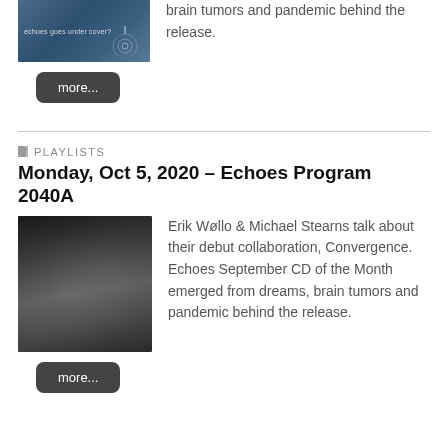[Figure (photo): Blue-toned medical or sci-fi imagery with circular wave overlays and text 'echoes goes under cover?']
brain tumors and pandemic behind the release.
more...
PLAYLISTS
Monday, Oct 5, 2020 – Echoes Program 2040A
[Figure (photo): Black and white photo of two men (Erik Wøllo and Michael Stearns) smiling, seated at a table]
Erik Wøllo & Michael Stearns talk about their debut collaboration, Convergence. Echoes September CD of the Month emerged from dreams, brain tumors and pandemic behind the release.
more...